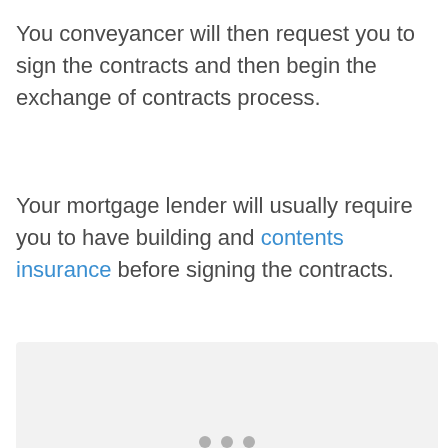You conveyancer will then request you to sign the contracts and then begin the exchange of contracts process.
Your mortgage lender will usually require you to have building and contents insurance before signing the contracts.
[Figure (other): A light grey placeholder box with three grey dots at the bottom center, indicating an image or media loading area.]